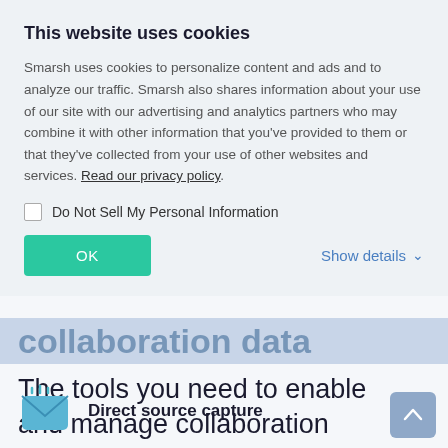This website uses cookies
Smarsh uses cookies to personalize content and ads and to analyze our traffic. Smarsh also shares information about your use of our site with our advertising and analytics partners who may combine it with other information that you've provided to them or that they've collected from your use of other websites and services. Read our privacy policy.
Do Not Sell My Personal Information
OK
Show details
The tools you need to enable and manage collaboration
Direct source capture
[Figure (illustration): Email icon with signal lines above it, in teal/blue color scheme]